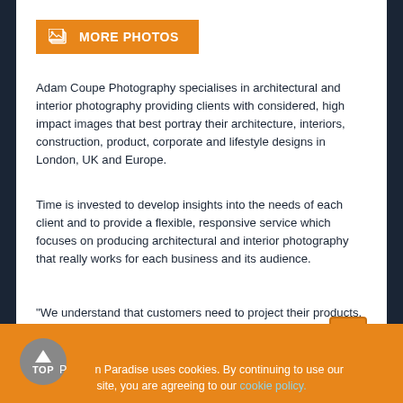[Figure (other): Orange button with photo stack icon labeled MORE PHOTOS]
Adam Coupe Photography specialises in architectural and interior photography providing clients with considered, high impact images that best portray their architecture, interiors, construction, product, corporate and lifestyle designs in London, UK and Europe.
Time is invested to develop insights into the needs of each client and to provide a flexible, responsive service which focuses on producing architectural and interior photography that really works for each business and its audience.
"We understand that customers need to project their products, people or brand in a vibrant way. It's through this passion for customer service, stunning images and great value that results in so many longstanding client relationships."
READ MORE
Photography on Paradise uses cookies. By continuing to use our site, you are agreeing to our cookie policy.